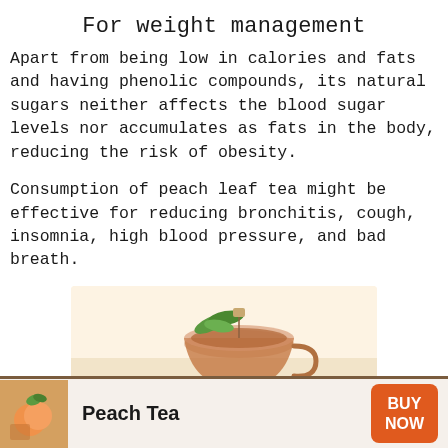For weight management
Apart from being low in calories and fats and having phenolic compounds, its natural sugars neither affects the blood sugar levels nor accumulates as fats in the body, reducing the risk of obesity.
Consumption of peach leaf tea might be effective for reducing bronchitis, cough, insomnia, high blood pressure, and bad breath.
[Figure (photo): A glass cup of peach leaf tea with mint garnish on a light beige background]
[Figure (photo): Small thumbnail image of peach tea with fruit in the footer advertisement bar]
Peach Tea
BUY NOW